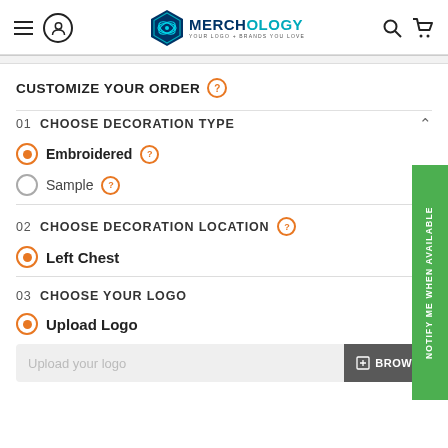[Figure (logo): Merchology logo with hexagon icon and tagline YOUR LOGO + BRANDS YOU LOVE]
CUSTOMIZE YOUR ORDER
01  CHOOSE DECORATION TYPE
Embroidered
Sample
02  CHOOSE DECORATION LOCATION
Left Chest
03  CHOOSE YOUR LOGO
Upload Logo
Upload your logo
NOTIFY ME WHEN AVAILABLE